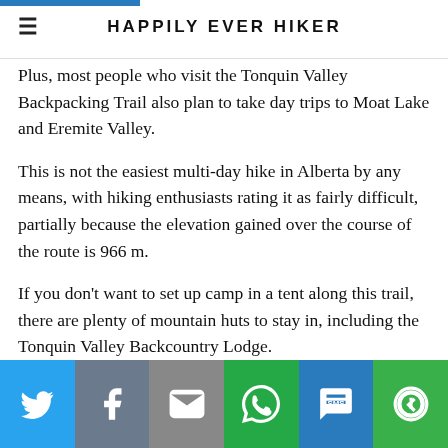HAPPILY EVER HIKER
Plus, most people who visit the Tonquin Valley Backpacking Trail also plan to take day trips to Moat Lake and Eremite Valley.
This is not the easiest multi-day hike in Alberta by any means, with hiking enthusiasts rating it as fairly difficult, partially because the elevation gained over the course of the route is 966 m.
If you don't want to set up camp in a tent along this trail, there are plenty of mountain huts to stay in, including the Tonquin Valley Backcountry Lodge.
[Figure (infographic): Social sharing bar with icons for Twitter, Facebook, Email, WhatsApp, SMS, and More options]